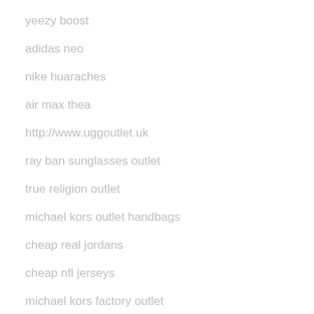yeezy boost
adidas neo
nike huaraches
air max thea
http://www.uggoutlet.uk
ray ban sunglasses outlet
true religion outlet
michael kors outlet handbags
cheap real jordans
cheap nfl jerseys
michael kors factory outlet
ray ban sunglasses